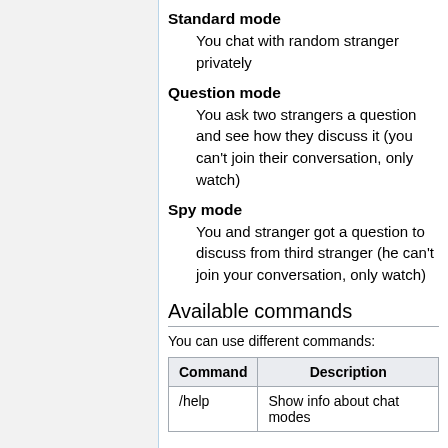Standard mode
You chat with random stranger privately
Question mode
You ask two strangers a question and see how they discuss it (you can't join their conversation, only watch)
Spy mode
You and stranger got a question to discuss from third stranger (he can't join your conversation, only watch)
Available commands
You can use different commands:
| Command | Description |
| --- | --- |
| /help | Show info about chat modes |